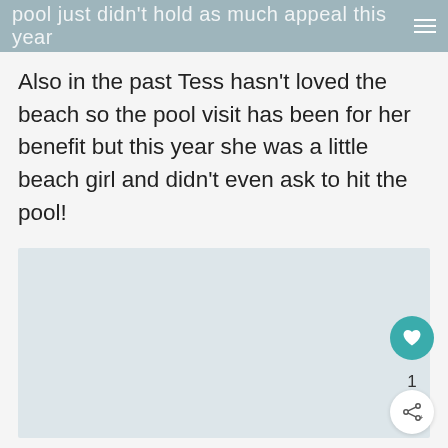pool just didn't hold as much appeal this year
Also in the past Tess hasn't loved the beach so the pool visit has been for her benefit but this year she was a little beach girl and didn't even ask to hit the pool!
[Figure (photo): A large image placeholder area with a light blue-gray background, representing a photo embedded in a blog post.]